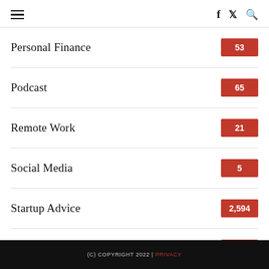≡  f  🐦  🔍
Personal Finance  53
Podcast  65
Remote Work  21
Social Media  5
Startup Advice  2,594
Travel  105
Under30CEO  9
(C) COPYRIGHT 2022 | PRIVACY